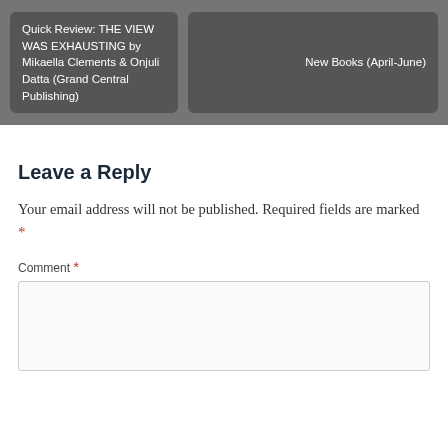Quick Review: THE VIEW WAS EXHAUSTING by Mikaella Clements & Onjuli Datta (Grand Central Publishing)
New Books (April-June)
Leave a Reply
Your email address will not be published. Required fields are marked *
Comment *